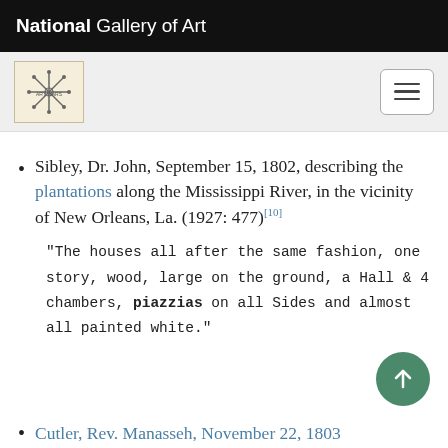National Gallery of Art
[Figure (logo): Art gallery logo with snowflake/star symbol on cream background, and hamburger menu button on right]
Sibley, Dr. John, September 15, 1802, describing the plantations along the Mississippi River, in the vicinity of New Orleans, La. (1927: 477)[10]
"The houses all after the same fashion, one story, wood, large on the ground, a Hall & 4 chambers, piazzias on all Sides and almost all painted white."
Cutler, Rev. Manasseh, November 22, 1803